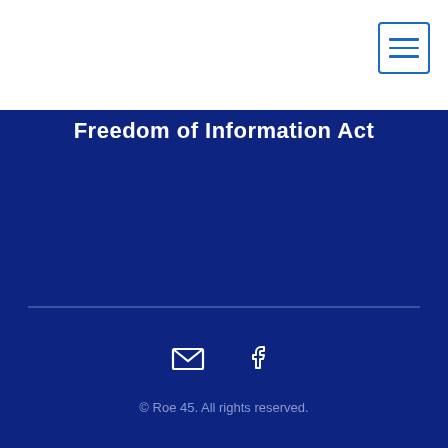Freedom of Information Act
[Figure (other): Hamburger menu icon button with three horizontal lines, white background with blue border]
© Roe 45. All rights reserved.